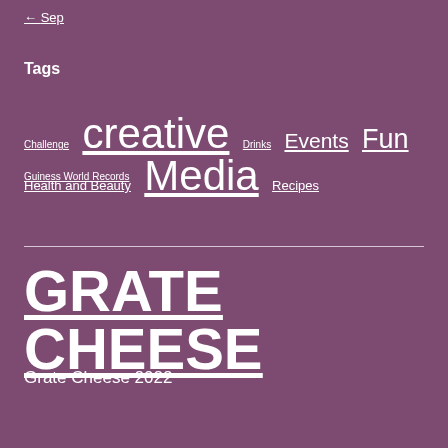← Sep
Tags
Challenge  creative  Drinks  Events  Fun  Guiness World Records
Health and Beauty  Media  Recipes
GRATE CHEESE
Grate Cheese 2022